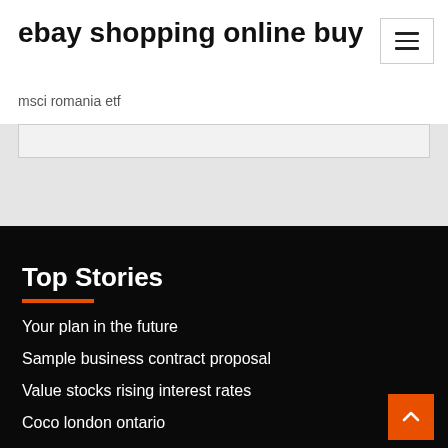ebay shopping online buy
msci romania etf
Top Stories
Your plan in the future
Sample business contract proposal
Value stocks rising interest rates
Coco london ontario